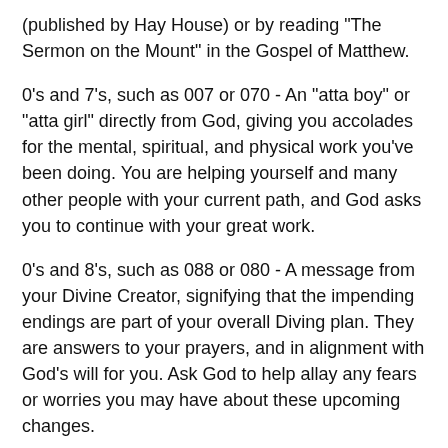(published by Hay House) or by reading "The Sermon on the Mount" in the Gospel of Matthew.
0's and 7's, such as 007 or 070 - An "atta boy" or "atta girl" directly from God, giving you accolades for the mental, spiritual, and physical work you've been doing. You are helping yourself and many other people with your current path, and God asks you to continue with your great work.
0's and 8's, such as 088 or 080 - A message from your Divine Creator, signifying that the impending endings are part of your overall Diving plan. They are answers to your prayers, and in alignment with God's will for you. Ask God to help allay any fears or worries you may have about these upcoming changes.
0's and 9's, such as 099 or 090 - This is a message from your Creator signifying that the part of your life that has just ended is Divinely guided. Nothing is